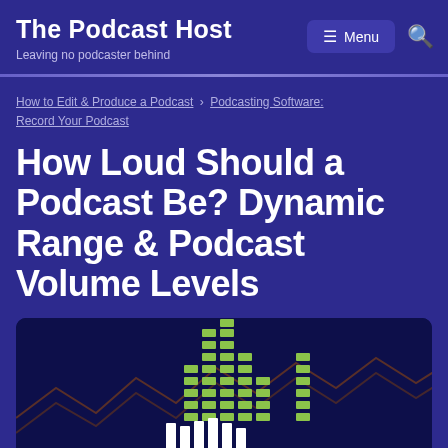The Podcast Host — Leaving no podcaster behind
How to Edit & Produce a Podcast > Podcasting Software: Record Your Podcast
How Loud Should a Podcast Be? Dynamic Range & Podcast Volume Levels
[Figure (illustration): Dark navy background with green equalizer/audio level bars visualization and orange zigzag waveform pattern, representing podcast audio levels]